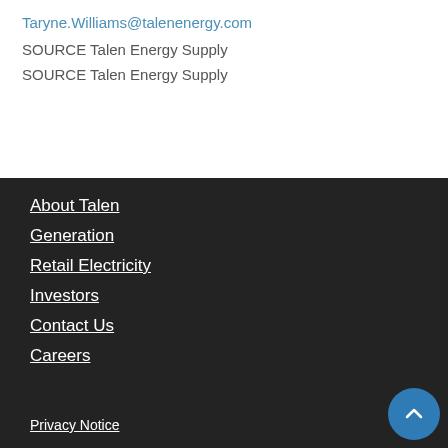Taryne.Williams@talenenergy.com
SOURCE Talen Energy Supply
SOURCE Talen Energy Supply
About Talen
Generation
Retail Electricity
Investors
Contact Us
Careers
Privacy Notice